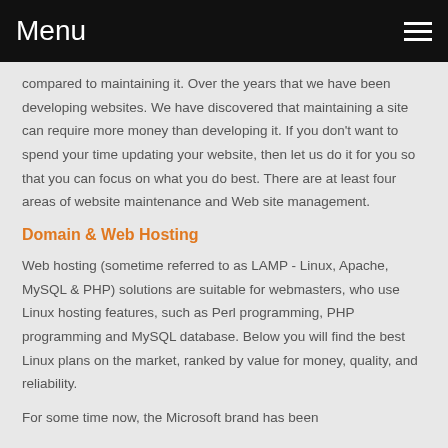Menu
compared to maintaining it. Over the years that we have been developing websites. We have discovered that maintaining a site can require more money than developing it. If you don't want to spend your time updating your website, then let us do it for you so that you can focus on what you do best. There are at least four areas of website maintenance and Web site management.
Domain & Web Hosting
Web hosting (sometime referred to as LAMP - Linux, Apache, MySQL & PHP) solutions are suitable for webmasters, who use Linux hosting features, such as Perl programming, PHP programming and MySQL database. Below you will find the best Linux plans on the market, ranked by value for money, quality, and reliability.
For some time now, the Microsoft brand has been